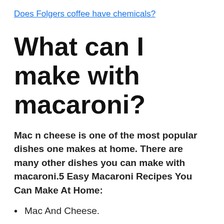Does Folgers coffee have chemicals?
What can I make with macaroni?
Mac n cheese is one of the most popular dishes one makes at home. There are many other dishes you can make with macaroni.5 Easy Macaroni Recipes You Can Make At Home:
Mac And Cheese.
Mushroom Mac and Cheese.
Baked Macaroni.
Masala Macaroni.
Macaroni Casserole.
14 May 2020.